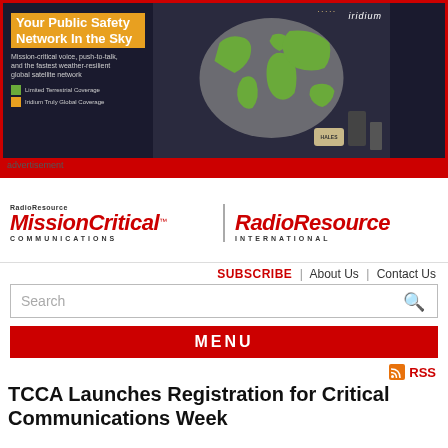[Figure (infographic): Iridium satellite network advertisement banner with dark background, world map globe showing green landmasses, Iridium branding, and radio/satellite devices. Text: 'Your Public Safety Network In the Sky', 'Mission-critical voice, push-to-talk, and the fastest weather-resilient global satellite network', 'Limited Terrestrial Coverage', 'Iridium Truly Global Coverage']
advertisement
[Figure (logo): RadioResource MissionCritical Communications | RadioResource International logo]
SUBSCRIBE | About Us | Contact Us
Search
MENU
RSS
TCCA Launches Registration for Critical Communications Week
Thursday, September 03, 2020 | Comments
TCCA has launched registration for Critical Communications Week